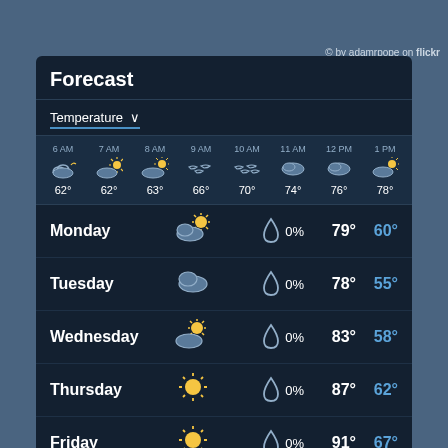© by adamrpope on flickr
Forecast
Temperature ∨
[Figure (infographic): Hourly weather forecast row showing times 6AM through 1PM with weather icons and temperatures: 6AM 62°, 7AM 62°, 8AM 63°, 9AM 66°, 10AM 70°, 11AM 74°, 12PM 76°, 1PM 78°]
| Day | Icon | Precip | High | Low |
| --- | --- | --- | --- | --- |
| Monday | partly cloudy sun | 0% | 79° | 60° |
| Tuesday | cloudy | 0% | 78° | 55° |
| Wednesday | sun/cloud | 0% | 83° | 58° |
| Thursday | sun | 0% | 87° | 62° |
| Friday | sun | 0% | 91° | 67° |
| Saturday | sun/cloud | 0% | 94° | 66° |
| Sunday | sun/cloud | 0% | 88° | 63° |